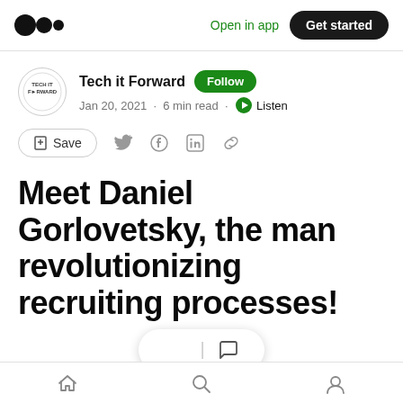Open in app · Get started
Tech it Forward · Follow · Jan 20, 2021 · 6 min read · Listen
Save
Meet Daniel Gorlovetsky, the man revolutionizing recruiting processes!
[Figure (screenshot): Dark image strip at bottom of article preview]
Home · Search · Profile icons